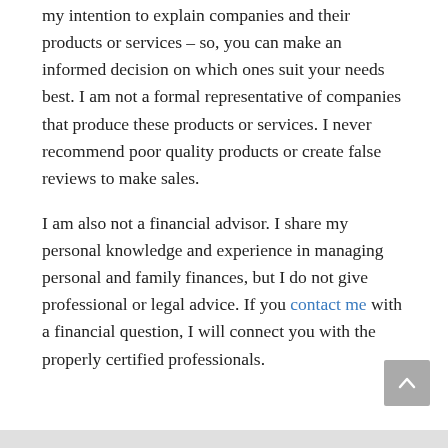my intention to explain companies and their products or services – so, you can make an informed decision on which ones suit your needs best. I am not a formal representative of companies that produce these products or services. I never recommend poor quality products or create false reviews to make sales.
I am also not a financial advisor. I share my personal knowledge and experience in managing personal and family finances, but I do not give professional or legal advice. If you contact me with a financial question, I will connect you with the properly certified professionals.